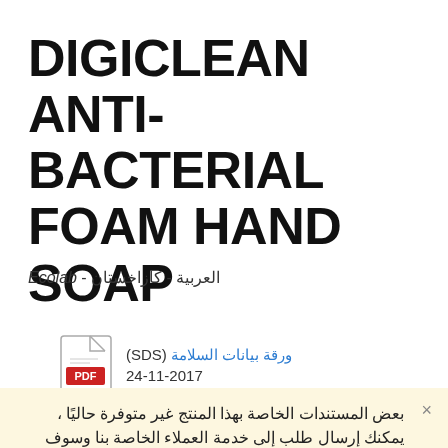DIGICLEAN ANTI-BACTERIAL FOAM HAND SOAP
العربية - كازاخستان - Ecolab
ورقة بيانات السلامة (SDS)
24-11-2017
بعض المستندات الخاصة بهذا المنتج غير متوفرة حاليًا ، يمكنك إرسال طلب إلى خدمة العملاء الخاصة بنا وسوف نخطرك بمجرد أن نتمكن من الحصول عليها. إرسال طلب